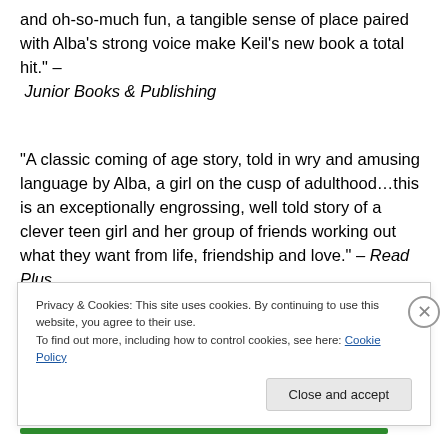and oh-so-much fun, a tangible sense of place paired with Alba's strong voice make Keil's new book a total hit." – Junior Books & Publishing
"A classic coming of age story, told in wry and amusing language by Alba, a girl on the cusp of adulthood…this is an exceptionally engrossing, well told story of a clever teen girl and her group of friends working out what they want from life, friendship and love." – Read Plus
"This is a story about embracing change and understanding where fear of change comes from. None of
Privacy & Cookies: This site uses cookies. By continuing to use this website, you agree to their use.
To find out more, including how to control cookies, see here: Cookie Policy